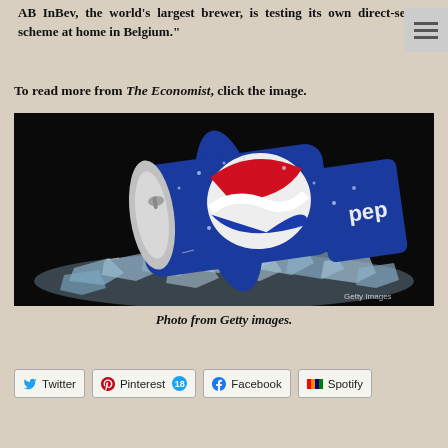AB InBev, the world's largest brewer, is testing its own direct-selling scheme at home in Belgium."
To read more from The Economist, click the image.
[Figure (photo): A Pepsi can lying on its side on a pile of ice cubes against a dark/black background, with water droplets on the can. A small 'Getty Images' watermark is visible in the bottom right corner.]
Photo from Getty images.
Twitter | Pinterest 18 | Facebook | Spotify